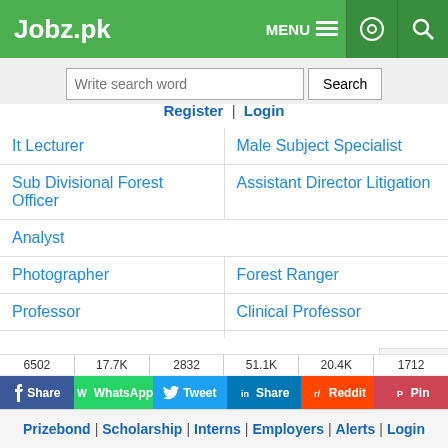Jobz.pk — MENU, settings, search icons
Write search word | Search
Register | Login
It Lecturer
Male Subject Specialist
Sub Divisional Forest Officer
Assistant Director Litigation
Analyst
Photographer
Forest Ranger
Professor
Clinical Professor
Professor Medicine
Professor Surgery
Professor Ophthalmology
Professor Gynaecology
Professor Ent
Professor Paediatrics
Professor Orthopaedics
Professor Psychiatry
Professor Dermatology
Professor Cardiology
3d Cad Designer
Professor Forensic Medici...
6502 | 17.7K | 2832 | 51.1K | 20.4K | 1712
Share | WhatsApp | Tweet | Share | Reddit | Pin
Close x
Prizebond | Scholarship | Interns | Employers | Alerts | Login